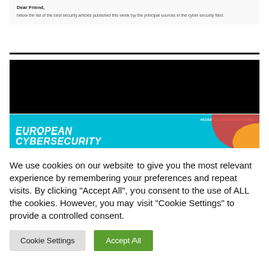Dear Friend,
below the list of the best security articles published this week by the principal sources in the cyber security field.
[Figure (other): Black rectangular banner image]
[Figure (other): European Cybersecurity banner with teal background, #EUSECBloggerAwards22 hashtag, and decorative curved shapes in red and orange]
We use cookies on our website to give you the most relevant experience by remembering your preferences and repeat visits. By clicking "Accept All", you consent to the use of ALL the cookies. However, you may visit "Cookie Settings" to provide a controlled consent.
Cookie Settings
Accept All